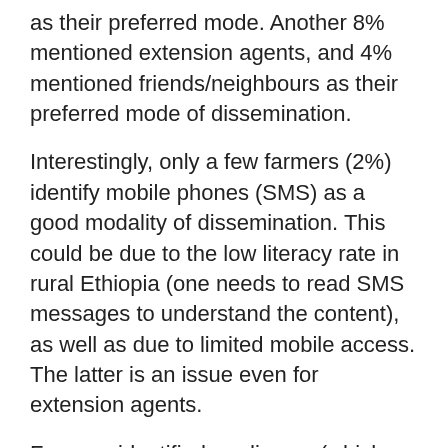as their preferred mode. Another 8% mentioned extension agents, and 4% mentioned friends/neighbours as their preferred mode of dissemination.
Interestingly, only a few farmers (2%) identify mobile phones (SMS) as a good modality of dissemination. This could be due to the low literacy rate in rural Ethiopia (one needs to read SMS messages to understand the content), as well as due to limited mobile access. The latter is an issue even for extension agents.
Farmers identified media use (which included access to media, and suitable timings of airing of content) and financial constraints as the two most important challenges to accessing the information, with each mentioned by 18% of respondents. Language of service